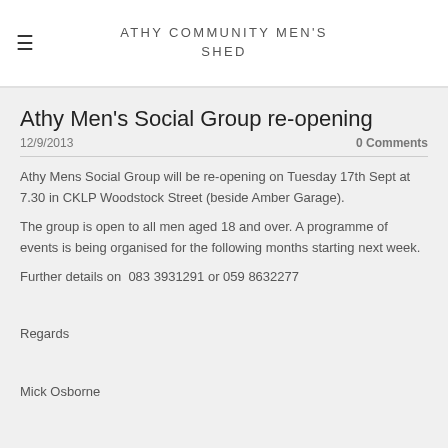ATHY COMMUNITY MEN'S SHED
Athy Men's Social Group re-opening
12/9/2013
0 Comments
Athy Mens Social Group will be re-opening on Tuesday 17th Sept at 7.30 in CKLP Woodstock Street (beside Amber Garage). The group is open to all men aged 18 and over. A programme of events is being organised for the following months starting next week. Further details on  083 3931291 or 059 8632277
Regards
Mick Osborne